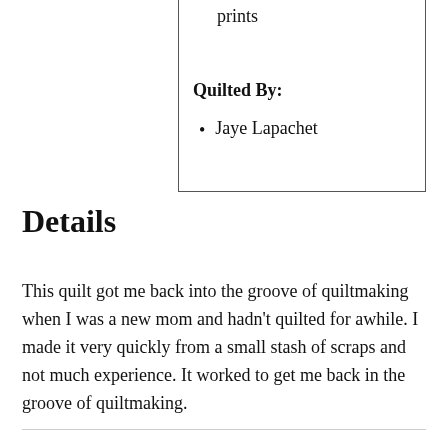prints
Quilted By:
Jaye Lapachet
Details
This quilt got me back into the groove of quiltmaking when I was a new mom and hadn't quilted for awhile. I made it very quickly from a small stash of scraps and not much experience. It worked to get me back in the groove of quiltmaking.